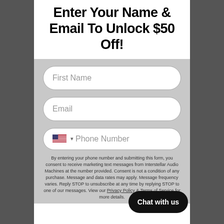Enter Your Name & Email To Unlock $50 Off!
First Name
Email
Phone Number
By entering your phone number and submitting this form, you consent to receive marketing text messages from Interstellar Audio Machines at the number provided. Consent is not a condition of any purchase. Message and data rates may apply. Message frequency varies. Reply STOP to unsubscribe at any time by replying STOP to one of our messages. View our Privacy Policy & Terms of Service for more details.
Chat with us